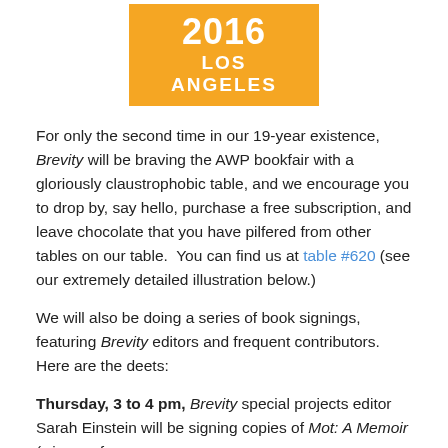2016 LOS ANGELES
For only the second time in our 19-year existence, Brevity will be braving the AWP bookfair with a gloriously claustrophobic table, and we encourage you to drop by, say hello, purchase a free subscription, and leave chocolate that you have pilfered from other tables on our table.  You can find us at table #620 (see our extremely detailed illustration below.)
We will also be doing a series of book signings, featuring Brevity editors and frequent contributors.  Here are the deets:
Thursday, 3 to 4 pm, Brevity special projects editor Sarah Einstein will be signing copies of Mot: A Memoir (winner of